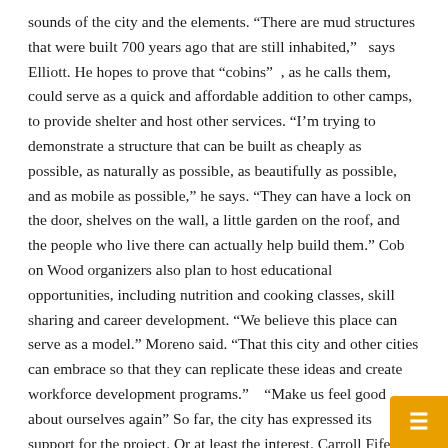sounds of the city and the elements. “There are mud structures that were built 700 years ago that are still inhabited,” says Elliott. He hopes to prove that “cobins”, as he calls them, could serve as a quick and affordable addition to other camps, to provide shelter and host other services. “I’m trying to demonstrate a structure that can be built as cheaply as possible, as naturally as possible, as beautifully as possible, and as mobile as possible,” he says. “They can have a lock on the door, shelves on the wall, a little garden on the roof, and the people who live there can actually help build them.” Cob on Wood organizers also plan to host educational opportunities, including nutrition and cooking classes, skill sharing and career development. “We believe this place can serve as a model.” Moreno said. “That this city and other cities can embrace so that they can replicate these ideas and create workforce development programs.” “Make us feel good about ourselves again” So far, the city has expressed its support for the project. Or at least the interest. Carroll Fife, a member of city council, visited the camp and met with residents. And while Cob on Wood was built without a permit on land owned by the state transportation agency Caltrans, the agency says it has no immediate plans to remove the